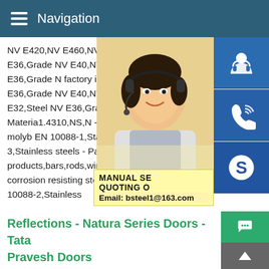Navigation
NV E420,NV E460,NV E500,NV E550,NV E32,Steel NV E36,Grade NV E40,NV - Ch Steel Plate NV E32,Steel NV E36,Grade N factory in China.We can produce Steel Pla E36,Grade NV E40,NV according to your r of Steel Plate NV E32,Steel NV E36,Grade 4261.4310 NS : Total Materia1.4310,NS,N - Ferritic/austenitic chromium-nickel-molyb EN 10088-1,Stainless steels - Part 1 List c 10088-3,Stainless steels - Part 3 Technica semi-finished products,bars,rods,wire,sections and bright products of corrosion resisting steels for general purposes,NS- EN 10088-2,Stainless
[Figure (photo): Woman with headset smiling, customer service representative]
[Figure (infographic): Blue icon panels showing customer support, phone/call, and Skype icons; promo overlay with MANUAL SE, QUOTING O, Email: bsteel1@163.com]
Reflections - Natura Series Doors - Tata Pravesh Doors